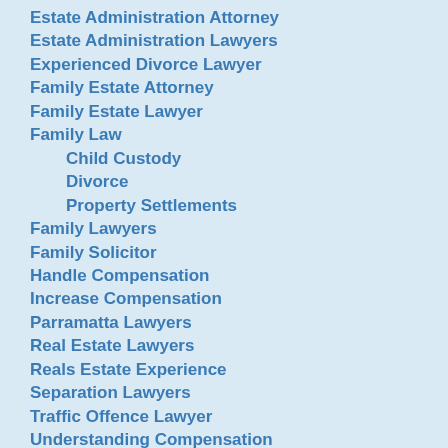Estate Administration Attorney
Estate Administration Lawyers
Experienced Divorce Lawyer
Family Estate Attorney
Family Estate Lawyer
Family Law
Child Custody
Divorce
Property Settlements
Family Lawyers
Family Solicitor
Handle Compensation
Increase Compensation
Parramatta Lawyers
Real Estate Lawyers
Reals Estate Experience
Separation Lawyers
Traffic Offence Lawyer
Understanding Compensation
Wills & Probate, Estate Administration